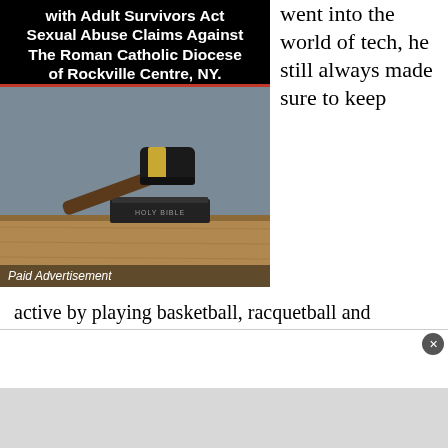[Figure (illustration): Advertisement image showing a gavel resting on a Holy Bible on a wooden surface, with black header text about Adult Survivors Act Sexual Abuse Claims Against The Roman Catholic Diocese of Rockville Centre, NY. Labeled as Paid Advertisement.]
went into the world of tech, he still always made sure to keep
active by playing basketball, racquetball and football with some friends. Perrotta didn’t leave the tech world fully for a long time, but he did many private training sessions, for no profit, where